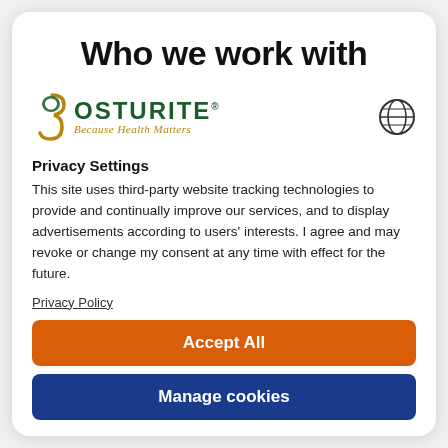Who we work with
[Figure (logo): Posturite logo with spine graphic and tagline 'Because Health Matters']
Privacy Settings
This site uses third-party website tracking technologies to provide and continually improve our services, and to display advertisements according to users' interests. I agree and may revoke or change my consent at any time with effect for the future.
Privacy Policy
Accept All
Manage cookies
Powered by Usercentrics Consent Management